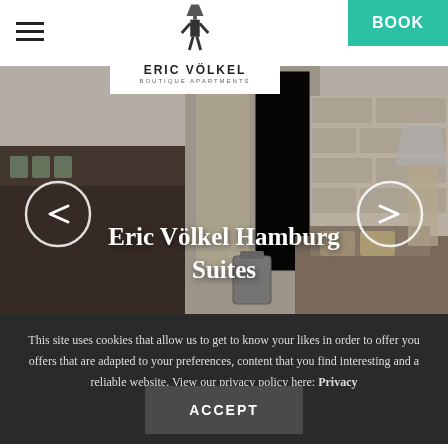Eric Völkel Boutique Apartments — BOOK
[Figure (photo): Hotel apartment interior showing a modern suite with light wood wardrobe, brick-pattern wall panel, sofa with cushions, and a lamp. Text overlay: Eric Völkel Hamburg Suites. Left and right navigation arrows visible.]
Eric Völkel Hamburg Suites
This site uses cookies that allow us to get to know your likes in order to offer you offers that are adapted to your preferences, content that you find interesting and a reliable website. View our privacy policy here: Privacy
ACCEPT